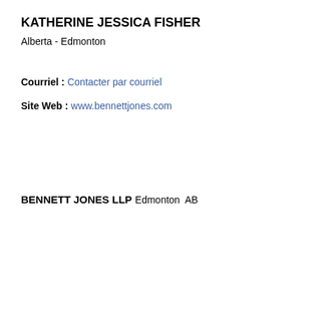KATHERINE JESSICA FISHER
Alberta - Edmonton
Courriel : Contacter par courriel
Site Web : www.bennettjones.com
BENNETT JONES LLP
Edmonton  AB